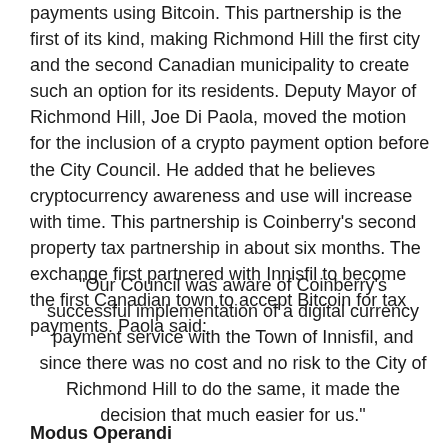payments using Bitcoin. This partnership is the first of its kind, making Richmond Hill the first city and the second Canadian municipality to create such an option for its residents. Deputy Mayor of Richmond Hill, Joe Di Paola, moved the motion for the inclusion of a crypto payment option before the City Council. He added that he believes cryptocurrency awareness and use will increase with time. This partnership is Coinberry's second property tax partnership in about six months. The exchange first partnered with Innisfil to become the first Canadian town to accept Bitcoin for tax payments. Paola said:
“Our Council was aware of Coinberry’s successful implementation of a digital currency payment service with the Town of Innisfil, and since there was no cost and no risk to the City of Richmond Hill to do the same, it made the decision that much easier for us.”
Modus Operandi